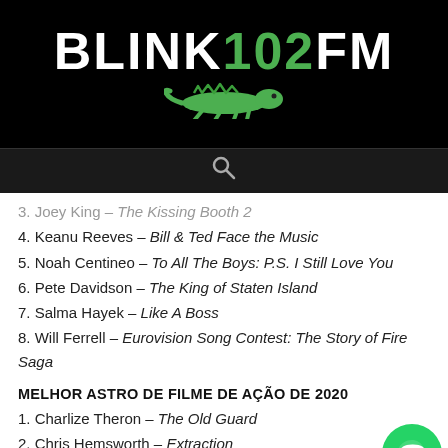BLINK 102 FM
3. Joey King – The Kissing Booth 2
4. Keanu Reeves – Bill & Ted Face the Music
5. Noah Centineo – To All The Boys: P.S. I Still Love You
6. Pete Davidson – The King of Staten Island
7. Salma Hayek – Like A Boss
8. Will Ferrell – Eurovision Song Contest: The Story of Fire Saga
MELHOR ASTRO DE FILME DE AÇÃO DE 2020
1. Charlize Theron – The Old Guard
2. Chris Hemsworth – Extraction
3. Jamie Foxx – Project Power